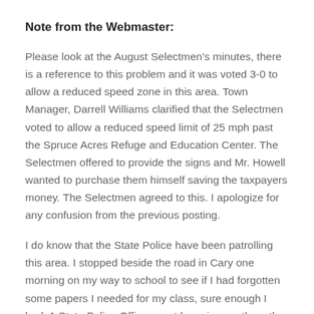Note from the Webmaster:
Please look at the August Selectmen's minutes, there is a reference to this problem and it was voted 3-0 to allow a reduced speed zone in this area. Town Manager, Darrell Williams clarified that the Selectmen voted to allow a reduced speed limit of 25 mph past the Spruce Acres Refuge and Education Center. The Selectmen offered to provide the signs and Mr. Howell wanted to purchase them himself saving the taxpayers money. The Selectmen agreed to this. I apologize for any confusion from the previous posting.
I do know that the State Police have been patrolling this area. I stopped beside the road in Cary one morning on my way to school to see if I had forgotten some papers I needed for my class, sure enough I had. A State Police Officer went by going south on the Calais Road. I turned